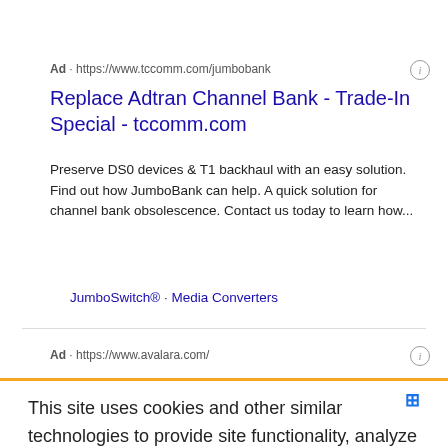Ad · https://www.tccomm.com/jumbobank
Replace Adtran Channel Bank - Trade-In Special - tccomm.com
Preserve DS0 devices & T1 backhaul with an easy solution. Find out how JumboBank can help. A quick solution for channel bank obsolescence. Contact us today to learn how...
JumboSwitch® · Media Converters
Ad · https://www.avalara.com/
This site uses cookies and other similar technologies to provide site functionality, analyze traffic and usage, and deliver content tailored to your interests. | Learn More
I Accept